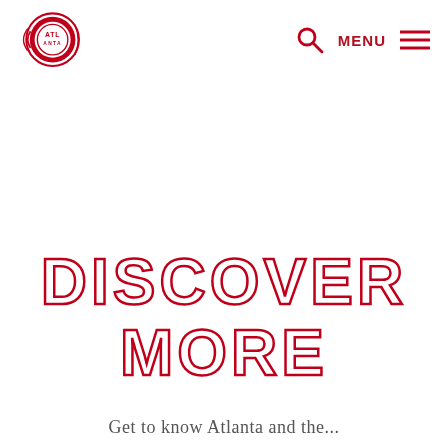Atlanta logo | Search | MENU
DISCOVER MORE
Get to know Atlanta and the...